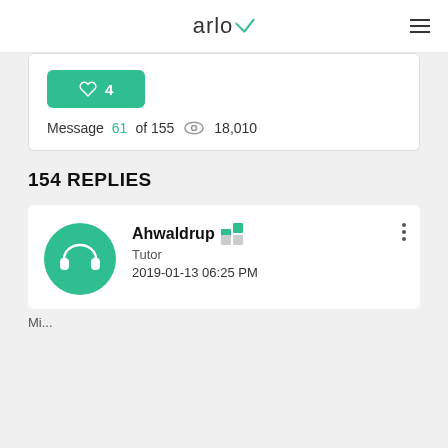arlo
♡ 4
Message 61 of 155 👁 18,010
154 REPLIES
Ahwaldrup
Tutor
2019-01-13 06:25 PM